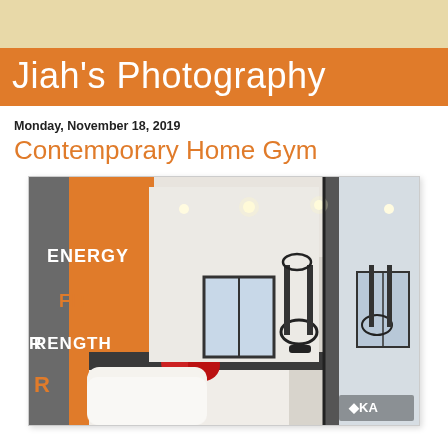Jiah's Photography
Monday, November 18, 2019
Contemporary Home Gym
[Figure (photo): Interior photo of a contemporary home gym featuring an orange and grey accent wall with motivational words ENERGY, FIT, STRENGTH in orange and white text, exercise equipment including an elliptical trainer, red exercise balls, white cabinetry, recessed ceiling lights, large windows, and mirror reflection. KA logo visible in bottom right corner.]